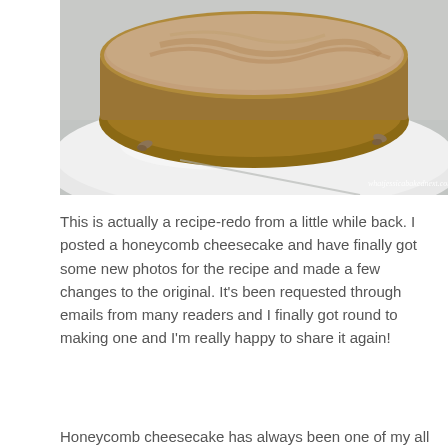[Figure (photo): Close-up photo of a round cheesecake with chocolate/brown creamy topping on a white plate, on a light blue/grey surface. Watermark reads 'whatjessicabakednext.com' in white italic text at bottom right.]
This is actually a recipe-redo from a little while back. I posted a honeycomb cheesecake and have finally got some new photos for the recipe and made a few changes to the original. It's been requested through emails from many readers and I finally got round to making one and I'm really happy to share it again!
Honeycomb cheesecake has always been one of my all